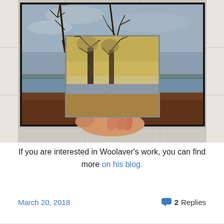[Figure (photo): A photograph of a framed artwork (painting of bare trees near water with golden/yellow tones) being held up by a hand against a real outdoor scene of similar bare trees and a lake with brown earth in the foreground, displayed on a white cinder block wall.]
If you are interested in Woolaver's work, you can find more on his blog.
March 20, 2018   2 Replies